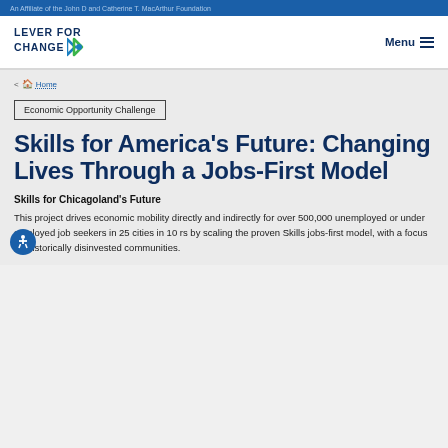An Affiliate of the John D and Catherine T. MacArthur Foundation
[Figure (logo): Lever for Change logo with blue and green arrow chevron icon]
Menu
< Home
Economic Opportunity Challenge
Skills for America's Future: Changing Lives Through a Jobs-First Model
Skills for Chicagoland's Future
This project drives economic mobility directly and indirectly for over 500,000 unemployed or under employed job seekers in 25 cities in 10 rs by scaling the proven Skills jobs-first model, with a focus on historically disinvested communities.